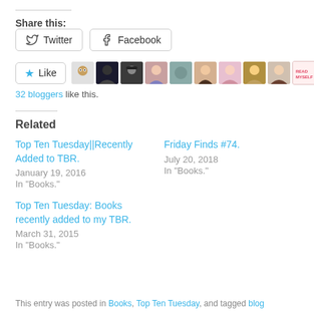Share this:
Twitter | Facebook (share buttons)
[Figure (other): Like button with star icon, followed by a row of blogger avatar thumbnails (10 visible avatars)]
32 bloggers like this.
Related
Top Ten Tuesday||Recently Added to TBR. — January 19, 2016 — In "Books."
Friday Finds #74. — July 20, 2018 — In "Books."
Top Ten Tuesday: Books recently added to my TBR. — March 31, 2015 — In "Books."
This entry was posted in Books, Top Ten Tuesday, and tagged blog